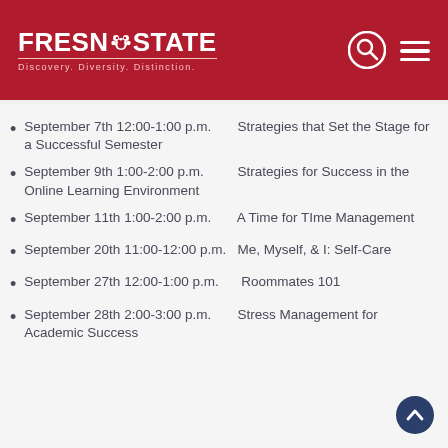FRESNO STATE — Discovery. Diversity. Distinction.
September 7th 12:00-1:00 p.m.       Strategies that Set the Stage for a Successful Semester
September 9th 1:00-2:00 p.m.        Strategies for Success in the Online Learning Environment
September 11th 1:00-2:00 p.m.       A Time for TIme Management
September 20th 11:00-12:00 p.m.   Me, Myself, & I: Self-Care
September 27th 12:00-1:00 p.m.     Roommates 101
September 28th 2:00-3:00 p.m.      Stress Management for Academic Success